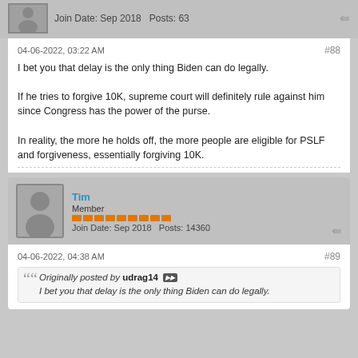Join Date: Sep 2018   Posts: 63
04-06-2022, 03:22 AM
#88
I bet you that delay is the only thing Biden can do legally.

If he tries to forgive 10K, supreme court will definitely rule against him since Congress has the power of the purse.

In reality, the more he holds off, the more people are eligible for PSLF and forgiveness, essentially forgiving 10K.
Tim
Member
Join Date: Sep 2018   Posts: 14360
04-06-2022, 04:38 AM
#89
Originally posted by udrag14
I bet you that delay is the only thing Biden can do legally.